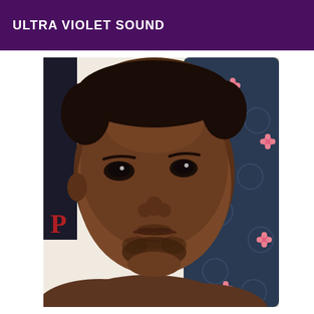ULTRA VIOLET SOUND
[Figure (photo): Close-up selfie of a young Black man with a beard, looking directly at the camera. He is shirtless and reclining against a dark navy blue pillow/cushion with pink floral patterns. Background is light/white on the left side.]